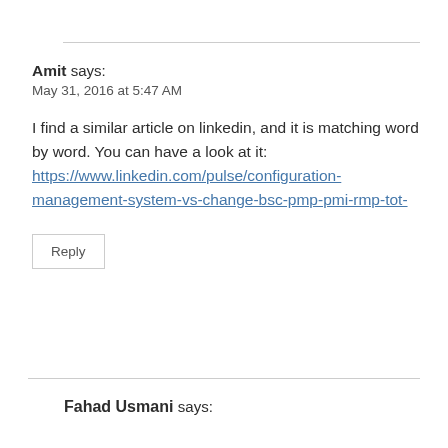Amit says:
May 31, 2016 at 5:47 AM
I find a similar article on linkedin, and it is matching word by word. You can have a look at it: https://www.linkedin.com/pulse/configuration-management-system-vs-change-bsc-pmp-pmi-rmp-tot-
Reply
Fahad Usmani says: